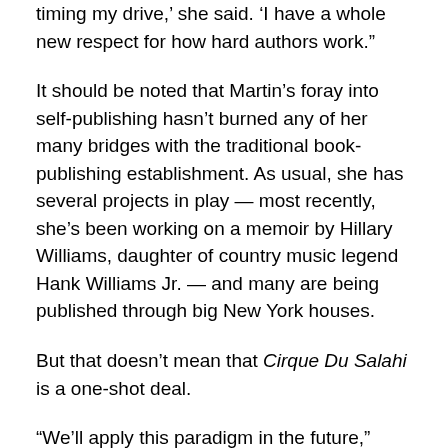timing my drive,' she said. 'I have a whole new respect for how hard authors work.'
It should be noted that Martin's foray into self-publishing hasn't burned any of her many bridges with the traditional book-publishing establishment. As usual, she has several projects in play — most recently, she's been working on a memoir by Hillary Williams, daughter of country music legend Hank Williams Jr. — and many are being published through big New York houses.
But that doesn't mean that Cirque Du Salahi is a one-shot deal.
“We'll apply this paradigm in the future,” Martin said, “where it's appropriate.”
My guess is that she won't be the only one.